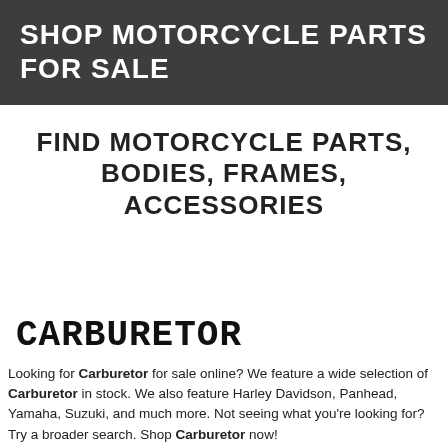SHOP MOTORCYCLE PARTS FOR SALE
FIND MOTORCYCLE PARTS, BODIES, FRAMES, ACCESSORIES
CARBURETOR
Looking for Carburetor for sale online? We feature a wide selection of Carburetor in stock. We also feature Harley Davidson, Panhead, Yamaha, Suzuki, and much more. Not seeing what you're looking for? Try a broader search. Shop Carburetor now!